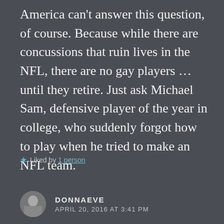America can't answer this question, of course. Because while there are concussions that ruin lives in the NFL, there are no gay players … until they retire. Just ask Michael Sam, defensive player of the year in college, who suddenly forgot how to play when he tried to make an NFL team.
★ Liked by 1 person
DONNAEVE
APRIL 20, 2016 AT 3:41 PM